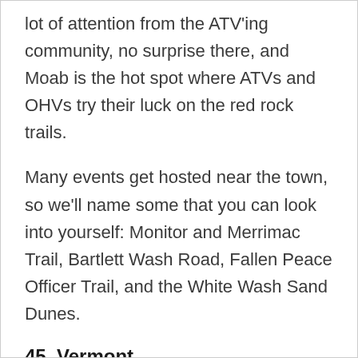lot of attention from the ATV'ing community, no surprise there, and Moab is the hot spot where ATVs and OHVs try their luck on the red rock trails.
Many events get hosted near the town, so we'll name some that you can look into yourself: Monitor and Merrimac Trail, Bartlett Wash Road, Fallen Peace Officer Trail, and the White Wash Sand Dunes.
45.  Vermont